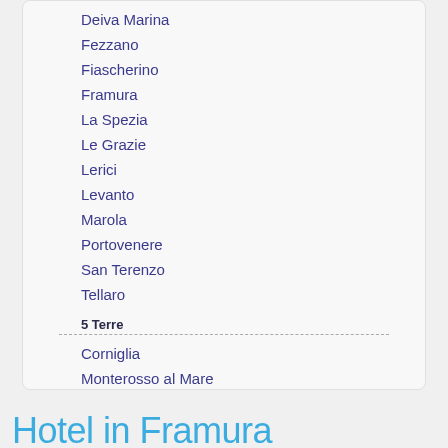Deiva Marina
Fezzano
Fiascherino
Framura
La Spezia
Le Grazie
Lerici
Levanto
Marola
Portovenere
San Terenzo
Tellaro
5 Terre
Corniglia
Monterosso al Mare
Riomaggiore
Vernazza
Hotel in Framura